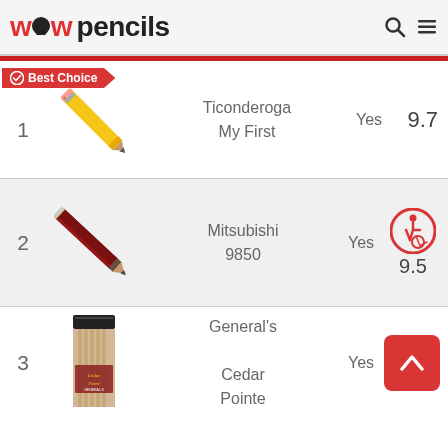wow pencils
[Figure (screenshot): Website product listing showing top 3 pencils ranked by score. Row 1: Best Choice badge, Ticonderoga My First pencil image, name Ticonderoga My First, Yes, score 9.7. Row 2: Mitsubishi 9850 pencil image, wheelchair accessibility icon, Yes, score 9.5. Row 3: General's Cedar Pointe pencil box image, Yes, score partially visible.]
1
Ticonderoga My First
Yes
9.7
2
Mitsubishi 9850
Yes
9.5
3
General's Cedar Pointe
Yes